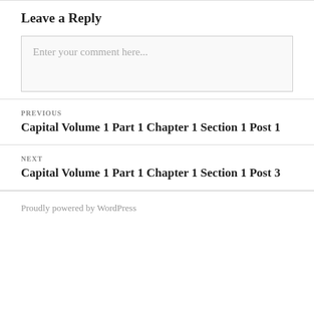Leave a Reply
Enter your comment here...
PREVIOUS
Capital Volume 1 Part 1 Chapter 1 Section 1 Post 1
NEXT
Capital Volume 1 Part 1 Chapter 1 Section 1 Post 3
Proudly powered by WordPress